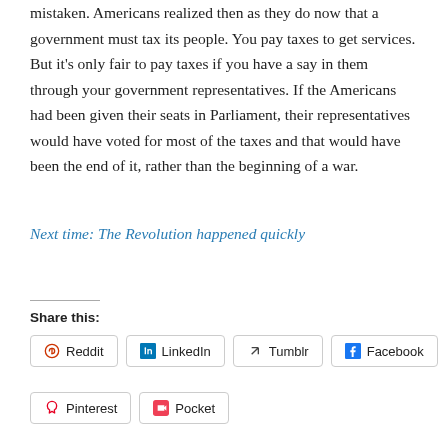mistaken. Americans realized then as they do now that a government must tax its people. You pay taxes to get services. But it's only fair to pay taxes if you have a say in them through your government representatives. If the Americans had been given their seats in Parliament, their representatives would have voted for most of the taxes and that would have been the end of it, rather than the beginning of a war.
Next time: The Revolution happened quickly
Share this: